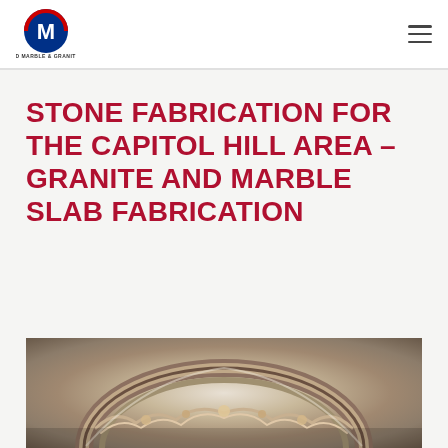[Figure (logo): Allied Marble & Granite Inc. logo — circular M emblem in blue and red with company name below]
STONE FABRICATION FOR THE CAPITOL HILL AREA – GRANITE AND MARBLE SLAB FABRICATION
[Figure (photo): Close-up photo of ornate marble or stone medallion with decorative carved floral/scroll patterns in an arched or circular staircase design]